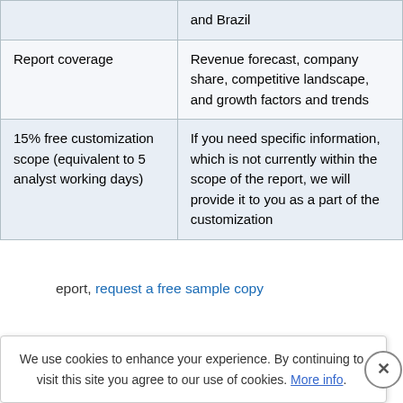|  | and Brazil |
| Report coverage | Revenue forecast, company share, competitive landscape, and growth factors and trends |
| 15% free customization scope (equivalent to 5 analyst working days) | If you need specific information, which is not currently within the scope of the report, we will provide it to you as a part of the customization |
…eport, request a free sample copy
d in the Report
We use cookies to enhance your experience. By continuing to visit this site you agree to our use of cookies. More info.